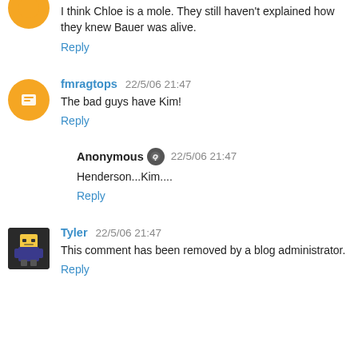I think Chloe is a mole. They still haven't explained how they knew Bauer was alive.
Reply
fmragtops 22/5/06 21:47
The bad guys have Kim!
Reply
Anonymous 22/5/06 21:47
Henderson...Kim....
Reply
Tyler 22/5/06 21:47
This comment has been removed by a blog administrator.
Reply